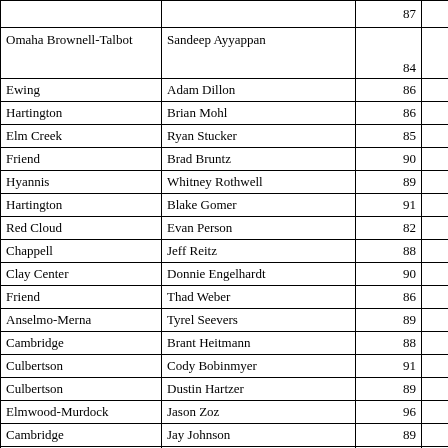| School | Name | Score |  |
| --- | --- | --- | --- |
|  |  | 87 |  |
| Omaha Brownell-Talbot | Sandeep Ayyappan | 84 |  |
| Ewing | Adam Dillon | 86 |  |
| Hartington | Brian Mohl | 86 |  |
| Elm Creek | Ryan Stucker | 85 |  |
| Friend | Brad Bruntz | 90 |  |
| Hyannis | Whitney Rothwell | 89 |  |
| Hartington | Blake Gomer | 91 |  |
| Red Cloud | Evan Person | 82 |  |
| Chappell | Jeff Reitz | 88 |  |
| Clay Center | Donnie Engelhardt | 90 |  |
| Friend | Thad Weber | 86 |  |
| Anselmo-Merna | Tyrel Seevers | 89 |  |
| Cambridge | Brant Heitmann | 88 |  |
| Culbertson | Cody Bobinmyer | 91 |  |
| Culbertson | Dustin Hartzer | 89 |  |
| Elmwood-Murdock | Jason Zoz | 96 |  |
| Cambridge | Jay Johnson | 89 |  |
| Humphrey St. Francis | Taylor Huettner | 87 |  |
| Osceola | Dusty Retzlaff | 90 |  |
| Coleridge | Jared Kalin | 89 |  |
| Ewing | Mark Steskal | 86 |  |
| Mullen | Mike Phillips | 91 |  |
| Hartington | Ben Mohl | 92 |  |